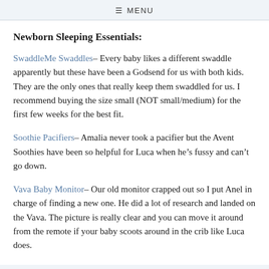≡ MENU
Newborn Sleeping Essentials:
SwaddleMe Swaddles – Every baby likes a different swaddle apparently but these have been a Godsend for us with both kids.  They are the only ones that really keep them swaddled for us. I recommend buying the size small (NOT small/medium) for the first few weeks for the best fit.
Soothie Pacifiers – Amalia never took a pacifier but the Avent Soothies have been so helpful for Luca when he's fussy and can't go down.
Vava Baby Monitor – Our old monitor crapped out so I put Anel in charge of finding a new one. He did a lot of research and landed on the Vava. The picture is really clear and you can move it around from the remote if your baby scoots around in the crib like Luca does.